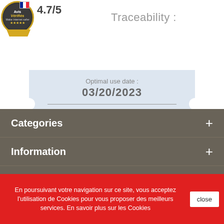[Figure (logo): Avis Vérifiés badge/seal with 4.7/5 rating]
Traceability :
Optimal use date : 03/20/2023
Lot number : 03011021
Categories
Information
Follow us
En poursuivant votre navigation sur ce site, vous acceptez l'utilisation de Cookies pour vous proposer des meilleurs services. En savoir plus sur les Cookies